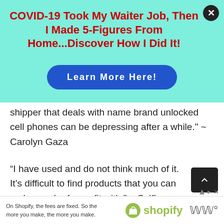[Figure (infographic): Advertisement banner with mint/aqua background. Title in bold red: 'COVID-19 Took My Waiter Job, Then I Made 5-Figures From Home...Discover How I Did It!' with a blue 'Learn More Here!' button. Close X button in top right corner.]
shipper that deals with name brand unlocked cell phones can be depressing after a while." ~ Carolyn Gaza
“I have used and do not think much of it. It’s difficult to find products that you can make much of a profit with.” ~ Selfless Marketer on Warrior
[Figure (infographic): Shopify advertisement bar at the bottom: 'On Shopify, the fees are fixed. So the more you make, the more you make.' with Shopify logo on the right.]